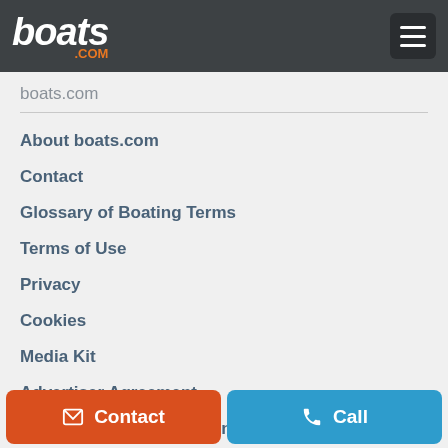boats .COM
boats.com
About boats.com
Contact
Glossary of Boating Terms
Terms of Use
Privacy
Cookies
Media Kit
Advertiser Agreement
Do not sell my personal information
Resources
NADA Guides